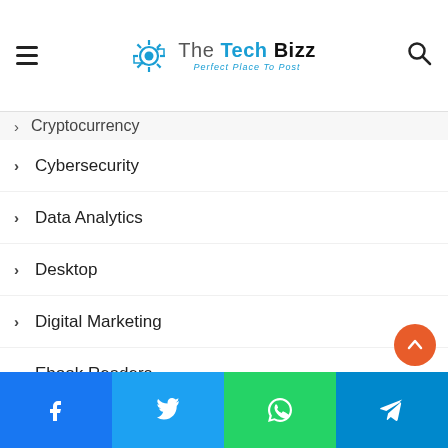The Tech Bizz — Perfect Place To Post
Cryptocurrency
Cybersecurity
Data Analytics
Desktop
Digital Marketing
Ebook Readers
Education
Ethical Hacking
Featured
Gadgets
Gaming
Google Adwords
Facebook | Twitter | WhatsApp | Telegram